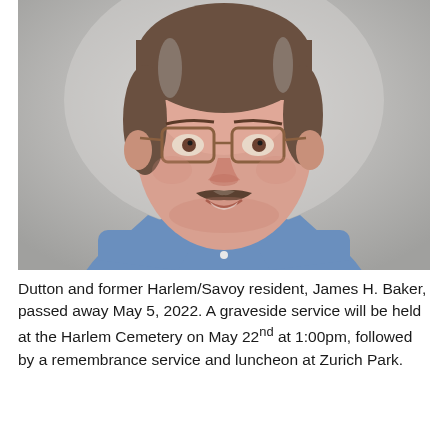[Figure (photo): Portrait photo of a middle-aged man with glasses, a mustache, and brownish-gray hair, wearing a blue collared shirt over a dark undershirt, smiling, against a gray background.]
Dutton and former Harlem/Savoy resident, James H. Baker, passed away May 5, 2022. A graveside service will be held at the Harlem Cemetery on May 22nd at 1:00pm, followed by a remembrance service and luncheon at Zurich Park.